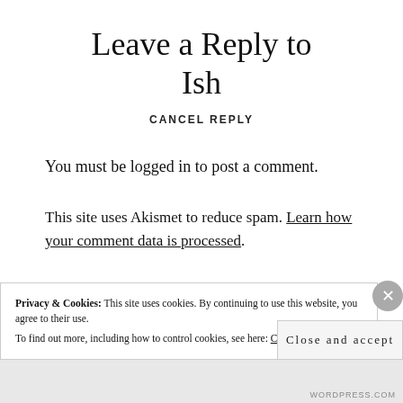Leave a Reply to Ish
CANCEL REPLY
You must be logged in to post a comment.
This site uses Akismet to reduce spam. Learn how your comment data is processed.
Privacy & Cookies: This site uses cookies. By continuing to use this website, you agree to their use. To find out more, including how to control cookies, see here: Cookie Policy
Close and accept